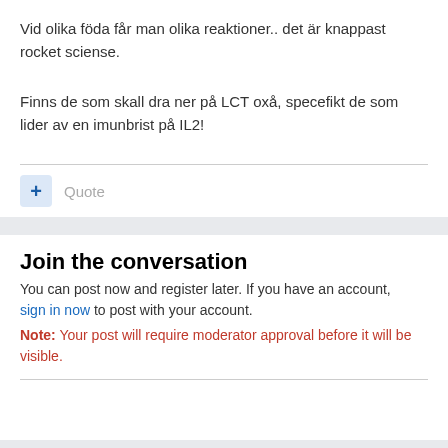Vid olika föda får man olika reaktioner.. det är knappast rocket sciense.
Finns de som skall dra ner på LCT oxå, specefikt de som lider av en imunbrist på IL2!
Join the conversation
You can post now and register later. If you have an account, sign in now to post with your account.
Note: Your post will require moderator approval before it will be visible.